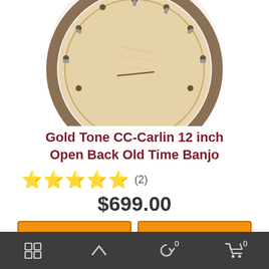[Figure (photo): Top portion of a banjo (round drumhead with hardware), cropped at top of image]
Gold Tone CC-Carlin 12 inch Open Back Old Time Banjo
★★★★★ (2)
$699.00
Add to cart
View more
[Figure (photo): Partial image of another instrument (dark stringed instrument head/neck), cut off at bottom]
Navigation bar with grid/layout icon, up arrow, refresh cart icon with badge 0, shopping cart icon with badge 0